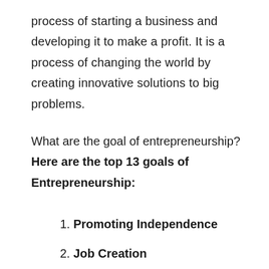process of starting a business and developing it to make a profit. It is a process of changing the world by creating innovative solutions to big problems.
What are the goal of entrepreneurship? Here are the top 13 goals of Entrepreneurship:
1. Promoting Independence
2. Job Creation